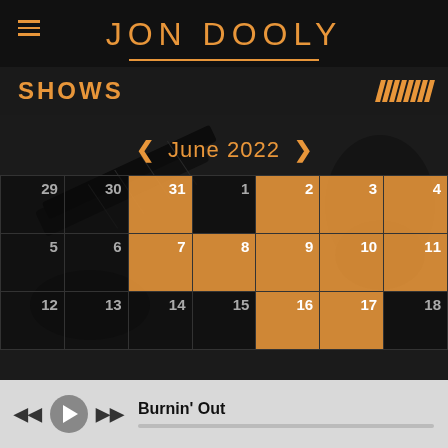JON DOOLY
SHOWS
[Figure (screenshot): June 2022 calendar overlaid on a dark photo of a guitarist. Navigation arrows flank the month title. Calendar shows days with orange highlighted cells for: 31, 1, 2, 3, 4, 7, 8, 9, 10, 11, 16, 17. Other visible dates: 29, 30, 5, 6, 12, 13, 14, 15, 18.]
Burnin' Out